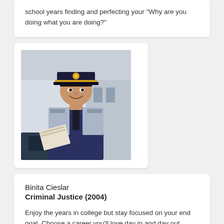school years finding and perfecting your "Why are you doing what you are doing?"
[Figure (photo): Photo of Binita Cieslar, a female RCMP officer in uniform with a dark navy cap with yellow band, smiling, holding papers near a vehicle]
Binita Cieslar
Criminal Justice (2004)
Enjoy the years in college but stay focused on your end goal. Choose a career you'll love day in and day out. Unwavering determination will help you get there, but remember to be kind along the way.